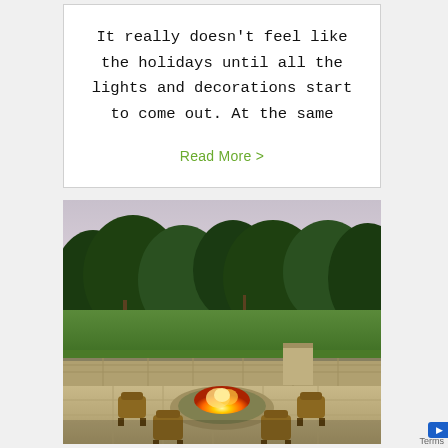It really doesn't feel like the holidays until all the lights and decorations start to come out. At the same
Read More >
[Figure (photo): Outdoor patio with a circular stone fire pit surrounded by cushioned chairs, stone retaining wall, and lush trees/field in background at dusk]